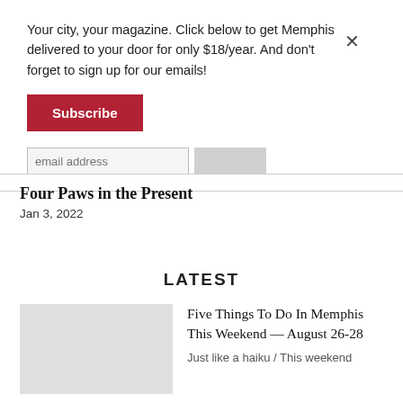Your city, your magazine. Click below to get Memphis delivered to your door for only $18/year. And don't forget to sign up for our emails!
Subscribe
Four Paws in the Present
Jan 3, 2022
LATEST
Five Things To Do In Memphis This Weekend — August 26-28
Just like a haiku / This weekend